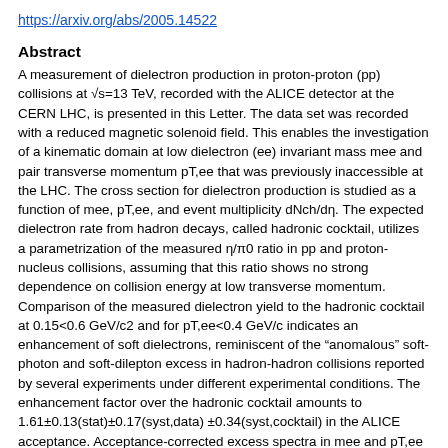https://arxiv.org/abs/2005.14522
Abstract
A measurement of dielectron production in proton-proton (pp) collisions at √s=13 TeV, recorded with the ALICE detector at the CERN LHC, is presented in this Letter. The data set was recorded with a reduced magnetic solenoid field. This enables the investigation of a kinematic domain at low dielectron (ee) invariant mass mee and pair transverse momentum pT,ee that was previously inaccessible at the LHC. The cross section for dielectron production is studied as a function of mee, pT,ee, and event multiplicity dNch/dη. The expected dielectron rate from hadron decays, called hadronic cocktail, utilizes a parametrization of the measured η/π0 ratio in pp and proton-nucleus collisions, assuming that this ratio shows no strong dependence on collision energy at low transverse momentum. Comparison of the measured dielectron yield to the hadronic cocktail at 0.15<0.6 GeV/c2 and for pT,ee<0.4 GeV/c indicates an enhancement of soft dielectrons, reminiscent of the "anomalous" soft-photon and soft-dilepton excess in hadron-hadron collisions reported by several experiments under different experimental conditions. The enhancement factor over the hadronic cocktail amounts to 1.61±0.13(stat)±0.17(syst,data) ±0.34(syst,cocktail) in the ALICE acceptance. Acceptance-corrected excess spectra in mee and pT,ee are extracted and compared with calculations of dielectron production from hadronic bremsstrahlung and thermal radiation within a hadronic many-body approach.